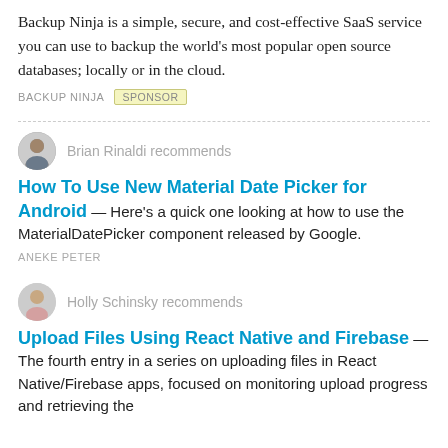Backup Ninja is a simple, secure, and cost-effective SaaS service you can use to backup the world's most popular open source databases; locally or in the cloud.
BACKUP NINJA SPONSOR
Brian Rinaldi recommends
How To Use New Material Date Picker for Android
— Here's a quick one looking at how to use the MaterialDatePicker component released by Google.
ANEKE PETER
Holly Schinsky recommends
Upload Files Using React Native and Firebase
— The fourth entry in a series on uploading files in React Native/Firebase apps, focused on monitoring upload progress and retrieving the